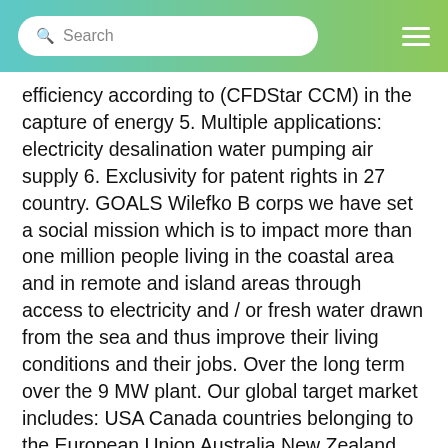Search
efficiency according to (CFDStar CCM) in the capture of energy 5. Multiple applications: electricity desalination water pumping air supply 6. Exclusivity for patent rights in 27 country. GOALS Wilefko B corps we have set a social mission which is to impact more than one million people living in the coastal area and in remote and island areas through access to electricity and / or fresh water drawn from the sea and thus improve their living conditions and their jobs. Over the long term over the 9 MW plant. Our global target market includes: USA Canada countries belonging to the European Union Australia New Zealand and Chile. Thus estimates for any of these countries which if used 1% of the coastline and apply the 32% efficiency this would imply an installed capacity of 8200 MW equivalent to 10 thermal power